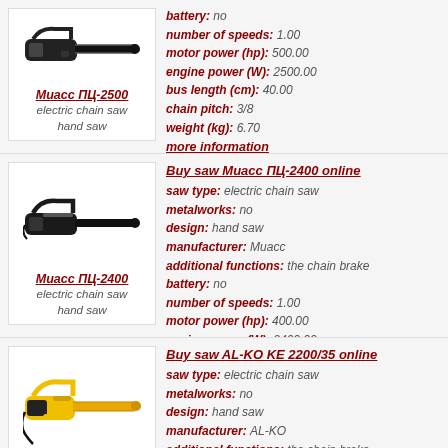[Figure (illustration): Electric chain saw product image - Миасс ПЦ-2500, dark colored chainsaw]
Миасс ПЦ-2500
electric chain saw
hand saw
battery: no
number of speeds: 1.00
motor power (hp): 500.00
engine power (W): 2500.00
bus length (cm): 40.00
chain pitch: 3/8
weight (kg): 6.70
more information
Buy saw Миасс ПЦ-2400 online
saw type: electric chain saw
metalworks: no
design: hand saw
manufacturer: Миасс
additional functions: the chain brake
battery: no
number of speeds: 1.00
motor power (hp): 400.00
engine power (W): 2400.00
bus length (cm): 40.00
chain pitch: 3/8
weight (kg): 6.70
more information
[Figure (illustration): Electric chain saw product image - Миасс ПЦ-2400, dark colored chainsaw]
Миасс ПЦ-2400
electric chain saw
hand saw
Buy saw AL-KO KE 2200/35 online
saw type: electric chain saw
metalworks: no
design: hand saw
manufacturer: AL-KO
additional functions: the chain brake
battery: no
[Figure (illustration): Electric chain saw product image - AL-KO KE 2200/35, yellow and black chainsaw]